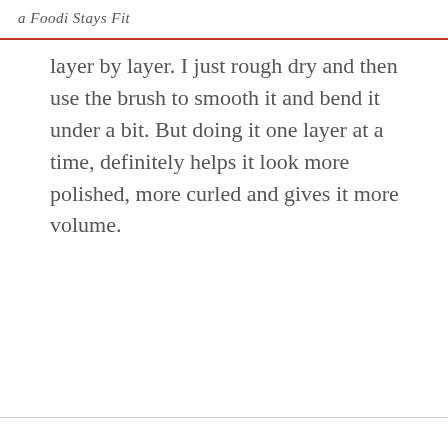a Foodi Stays Fit
layer by layer. I just rough dry and then use the brush to smooth it and bend it under a bit. But doing it one layer at a time, definitely helps it look more polished, more curled and gives it more volume.